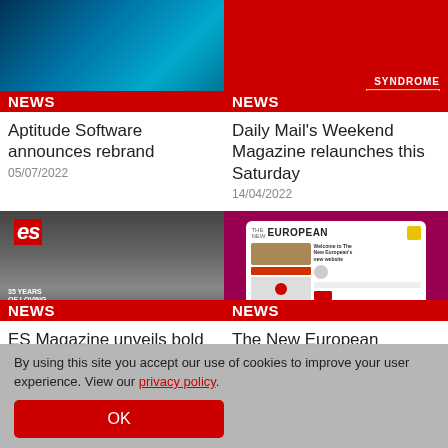[Figure (photo): Blue bokeh light background with red NEWS badge overlay]
Aptitude Software announces rebrand
05/07/2022
[Figure (photo): Magazine cover on red background with NEWS badge — Syndrome magazine, 'The Definitive 10-Page Guide to On Demand TV']
Daily Mail's Weekend Magazine relaunches this Saturday
14/04/2022
[Figure (photo): ES Magazine cover '35 Years of Loving London' on red background with NEWS badge]
ES Magazine unveils bold
[Figure (screenshot): The New European website shown on tablet device on dark red background with NEWS badge]
The New European
By using this site you accept our use of cookies to improve your user experience. View our privacy policy.